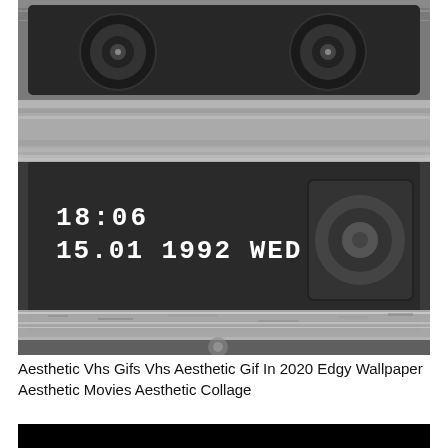[Figure (photo): Black and white photograph of VHS cassette tapes viewed from above and side angle, showing the cassette reels and a VHS timestamp overlay reading '18:06 / 15.01 1992 WED' in white monospace font on a dark cassette body. The image has a grainy, static-filled aesthetic with noise bands.]
Aesthetic Vhs Gifs Vhs Aesthetic Gif In 2020 Edgy Wallpaper Aesthetic Movies Aesthetic Collage